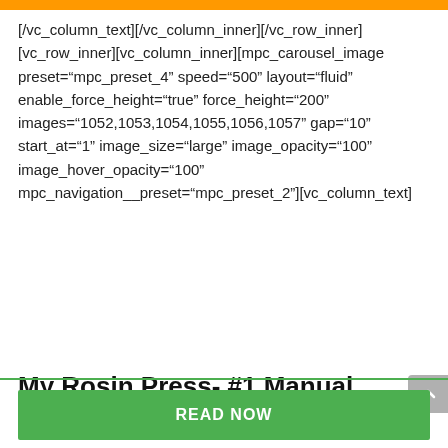[/vc_column_text][/vc_column_inner][/vc_row_inner][vc_row_inner][vc_column_inner][mpc_carousel_image preset="mpc_preset_4" speed="500" layout="fluid" enable_force_height="true" force_height="200" images="1052,1053,1054,1055,1056,1057" gap="10" start_at="1" image_size="large" image_opacity="100" image_hover_opacity="100" mpc_navigation__preset="mpc_preset_2"][vc_column_text]
My Rosin Press- #1 Manual Rosin Press